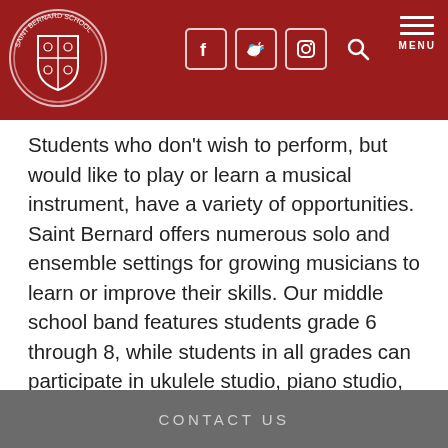[Figure (logo): Saint Bernard School circular crest logo in white on dark red background]
Saint Bernard School navigation header with social media icons (Facebook, Twitter, Instagram), search icon, and MENU
Students who don’t wish to perform, but would like to play or learn a musical instrument, have a variety of opportunities.  Saint Bernard offers numerous solo and ensemble settings for growing musicians to learn or improve their skills. Our middle school band features students grade 6 through 8, while students in all grades can participate in ukulele studio, piano studio, acapella choir, handbells, drumline, and more.
CONTACT US